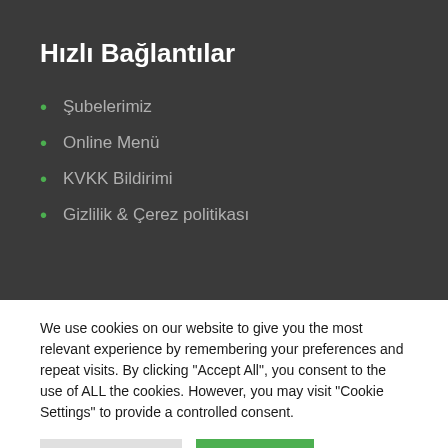Hızlı Bağlantılar
Şubelerimiz
Online Menü
KVKK Bildirimi
Gizlilik & Çerez politikası
We use cookies on our website to give you the most relevant experience by remembering your preferences and repeat visits. By clicking "Accept All", you consent to the use of ALL the cookies. However, you may visit "Cookie Settings" to provide a controlled consent.
Cookie Settings | Accept All